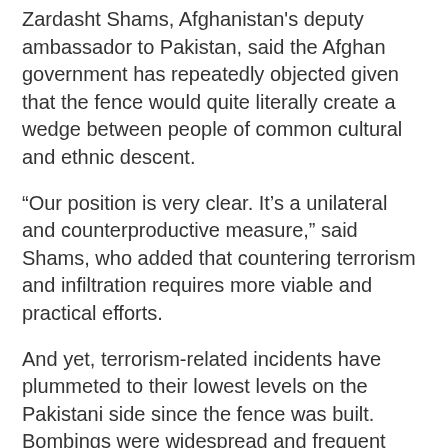Zardasht Shams, Afghanistan's deputy ambassador to Pakistan, said the Afghan government has repeatedly objected given that the fence would quite literally create a wedge between people of common cultural and ethnic descent.
“Our position is very clear. It’s a unilateral and counterproductive measure,” said Shams, who added that countering terrorism and infiltration requires more viable and practical efforts.
And yet, terrorism-related incidents have plummeted to their lowest levels on the Pakistani side since the fence was built. Bombings were widespread and frequent prior to that, especially along the border.
Islamabad is adamant that the construction of the fence will be completed by the middle of next year.
Islamabad says the fact that Afghan students can enter without a visa, something most countries would never accept, shows that